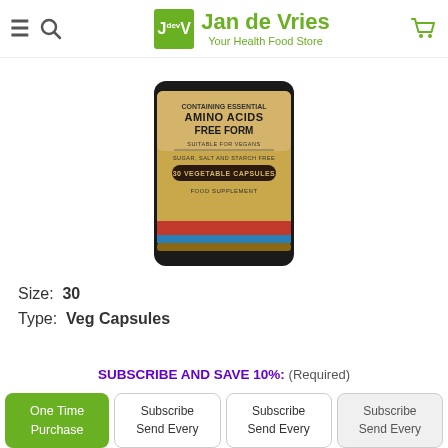Jan de Vries - Your Health Food Store
[Figure (photo): Supplement bottle label showing: CONTAINING ESSENTIAL AMINO ACIDS FREE FORM, SUITABLE FOR VEGANS, SUGAR, SALT AND STARCH FREE, 30 VEGETABLE CAPSULES, FOOD SUPPLEMENT]
Size: 30
Type: Veg Capsules
SUBSCRIBE AND SAVE 10%: (Required)
One Time Purchase | Subscribe Send Every | Subscribe Send Every | Subscribe Send Every